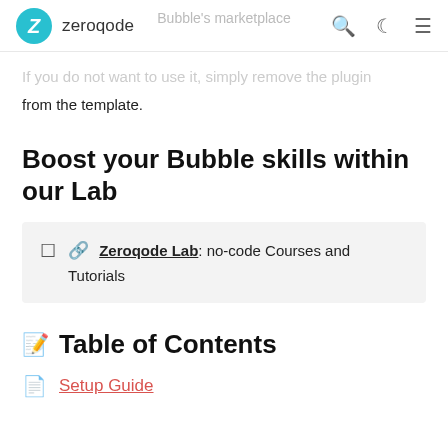zeroqode
Bubble's marketplace
If you do not want to use it, simply remove the plugin from the template.
Boost your Bubble skills within our Lab
🔗 Zeroqode Lab: no-code Courses and Tutorials
🗒 Table of Contents
Setup Guide